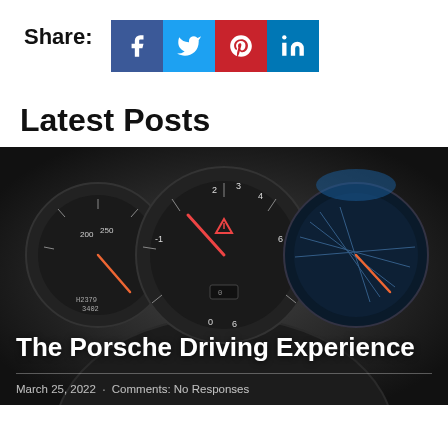Share:
[Figure (infographic): Social share buttons: Facebook (blue), Twitter (light blue), Pinterest (red), LinkedIn (blue)]
Latest Posts
[Figure (photo): Close-up of Porsche instrument cluster dashboard with speedometer, tachometer, and navigation display]
The Porsche Driving Experience
March 25, 2022    Comments:  No Responses